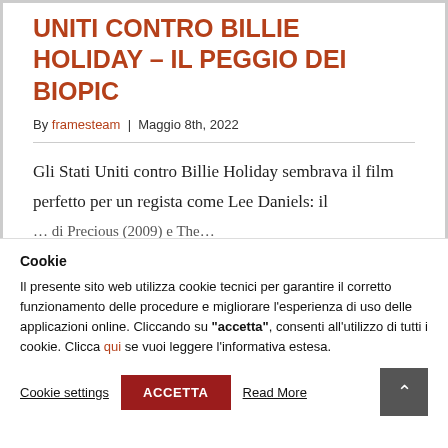UNITI CONTRO BILLIE HOLIDAY – IL PEGGIO DEI BIOPIC
By framesteam | Maggio 8th, 2022
Gli Stati Uniti contro Billie Holiday sembrava il film perfetto per un regista come Lee Daniels: il … di Precious (2009) e The…
Cookie
Il presente sito web utilizza cookie tecnici per garantire il corretto funzionamento delle procedure e migliorare l'esperienza di uso delle applicazioni online. Cliccando su "accetta", consenti all'utilizzo di tutti i cookie. Clicca qui se vuoi leggere l'informativa estesa.